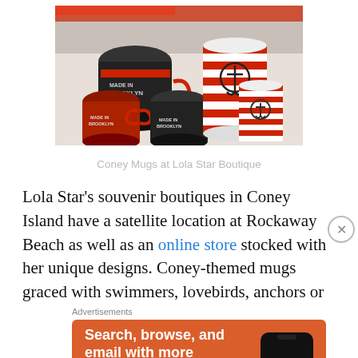[Figure (photo): Photo of Coney Island themed mugs with red and white striped designs and 'Made in Brooklyn' text at Lola Star Boutique]
Coney Mugs at Lola Star Boutique
Lola Star’s souvenir boutiques in Coney Island have a satellite location at Rockaway Beach as well as an online store stocked with her unique designs. Coney-themed mugs graced with swimmers, lovebirds, anchors or
Advertisements
[Figure (screenshot): DuckDuckGo advertisement: Search, browse, and email with more privacy. All in One Free App. Shows a phone with DuckDuckGo logo.]